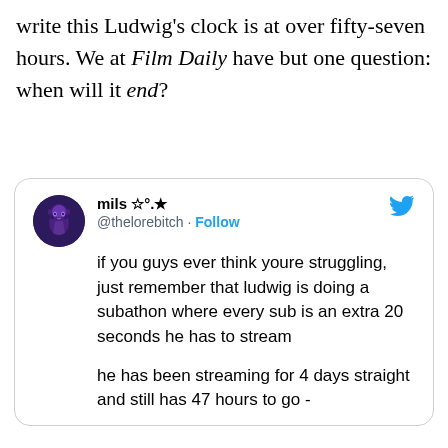write this Ludwig's clock is at over fifty-seven hours. We at Film Daily have but one question: when will it end?
[Figure (screenshot): Embedded tweet from @thelorebitch (mils ☆°.★) with Follow button and Twitter bird icon. Tweet text: 'if you guys ever think youre struggling, just remember that ludwig is doing a subathon where every sub is an extra 20 seconds he has to stream' and 'he has been streaming for 4 days straight and still has 47 hours to go -']